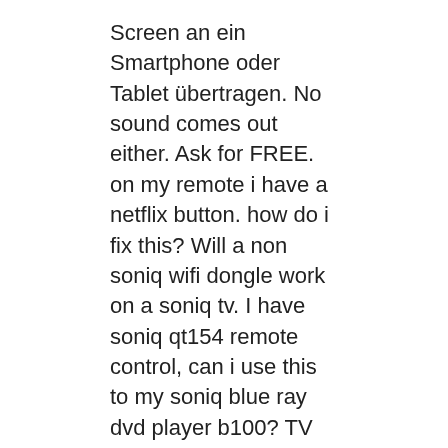Screen an ein Smartphone oder Tablet übertragen. No sound comes out either. Ask for FREE. on my remote i have a netflix button. how do i fix this? Will a non soniq wifi dongle work on a soniq tv. I have soniq qt154 remote control, can i use this to my soniq blue ray dvd player b100? TV remote not working and tv bottom not working. It behaves while no input is in but when I plugged in the chromecast, it behaves for about 5 second and then the image is distorted. I cant seem to get the firmware to install onto the TV and have tried many different types of firmware for TVs with the same panel or control board but i cant get it to even turn on. With the button lit, point the remote at the TV and enter the TV's 3, 4, or 5 digit code. Press and hold the TV and SEL buttons simultaneously for 3 seconds. I have a lg60pn5700 3d smart tv. My soniq remote turn on and turn off tv , and nothing else on remote works? Hi. My tv screen is small. My home button on my touch screen won`t work but the back button works and so does my browser how do i fix it? Please check